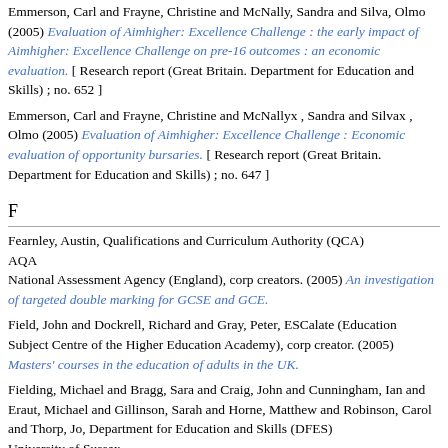Emmerson, Carl and Frayne, Christine and McNally, Sandra and Silva, Olmo (2005) Evaluation of Aimhigher: Excellence Challenge : the early impact of Aimhigher: Excellence Challenge on pre-16 outcomes : an economic evaluation. [ Research report (Great Britain. Department for Education and Skills) ; no. 652 ]
Emmerson, Carl and Frayne, Christine and McNallyx , Sandra and Silvax , Olmo (2005) Evaluation of Aimhigher: Excellence Challenge : Economic evaluation of opportunity bursaries. [ Research report (Great Britain. Department for Education and Skills) ; no. 647 ]
F
Fearnley, Austin, Qualifications and Curriculum Authority (QCA)
AQA
National Assessment Agency (England), corp creators. (2005) An investigation of targeted double marking for GCSE and GCE.
Field, John and Dockrell, Richard and Gray, Peter, ESCalate (Education Subject Centre of the Higher Education Academy), corp creator. (2005) Masters' courses in the education of adults in the UK.
Fielding, Michael and Bragg, Sara and Craig, John and Cunningham, Ian and Eraut, Michael and Gillinson, Sarah and Horne, Matthew and Robinson, Carol and Thorp, Jo, Department for Education and Skills (DFES)
University of Sussex
Demos, corp creators. (2005) Factors influencing the transfer of good practice. [